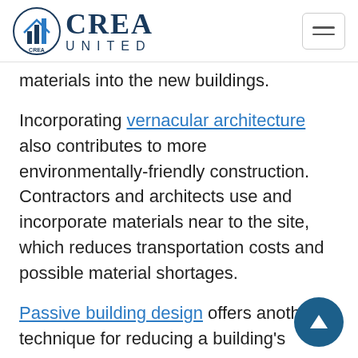CREA UNITED
materials into the new buildings.
Incorporating vernacular architecture also contributes to more environmentally-friendly construction. Contractors and architects use and incorporate materials near to the site, which reduces transportation costs and possible material shortages.
Passive building design offers another technique for reducing a building's energy needs and use. Site planners can orient buildings to take advantage of the sun's